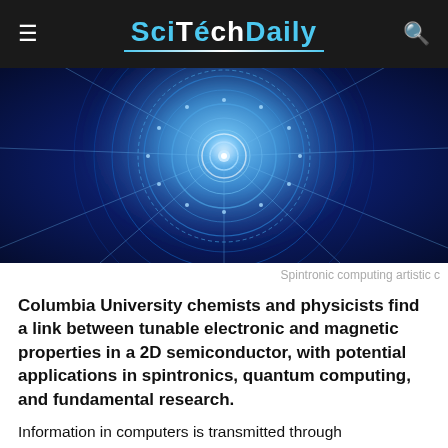SciTechDaily
[Figure (illustration): Blue glowing futuristic spintronic computing circuit visualization — circular mandala-like pattern with radial lines on dark blue background]
Spintronic computing artistic c
Columbia University chemists and physicists find a link between tunable electronic and magnetic properties in a 2D semiconductor, with potential applications in spintronics, quantum computing, and fundamental research.
Information in computers is transmitted through semiconductors by the movement of electrons and stored in the direction of the electron spin in magnetic